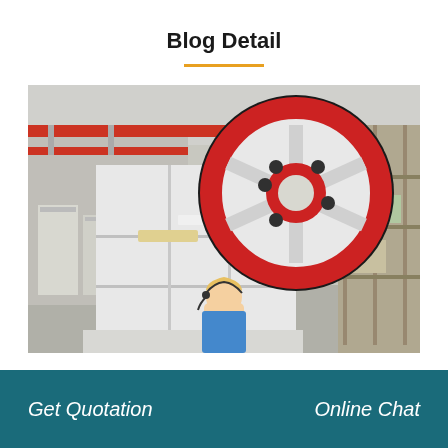Blog Detail
[Figure (photo): Industrial jaw crusher machine with large red and black flywheel, white body, in a factory/warehouse setting with red overhead cranes and steel shelving in background]
Get Quotation    Online Chat